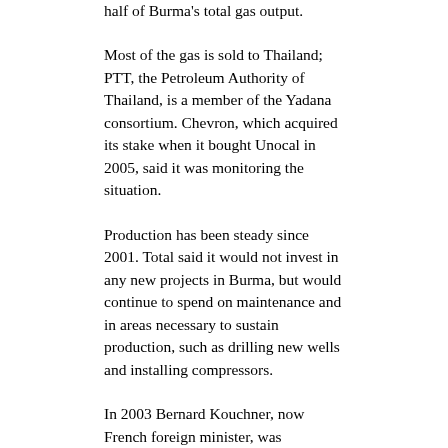half of Burma's total gas output.
Most of the gas is sold to Thailand; PTT, the Petroleum Authority of Thailand, is a member of the Yadana consortium. Chevron, which acquired its stake when it bought Unocal in 2005, said it was monitoring the situation.
Production has been steady since 2001. Total said it would not invest in any new projects in Burma, but would continue to spend on maintenance and in areas necessary to sustain production, such as drilling new wells and installing compressors.
In 2003 Bernard Kouchner, now French foreign minister, was commissioned as an independent consultant by Total to write a report on the group's involvement in Burma. He did not call for it to leave the country, but said the company “must come out clearly in favour of democracy”.
Human Rights Watch, the New York-based